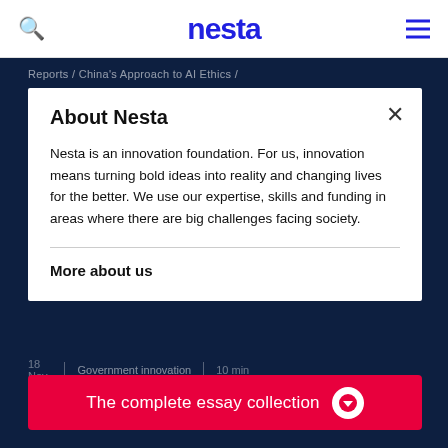nesta
Reports / China's Approach to AI Ethics /
China's Approach to AI Ethics
About Nesta
Nesta is an innovation foundation. For us, innovation means turning bold ideas into reality and changing lives for the better. We use our expertise, skills and funding in areas where there are big challenges facing society.
More about us
18 Nov 2020 | Government innovation | Innovation policy | 10 min read
The complete essay collection